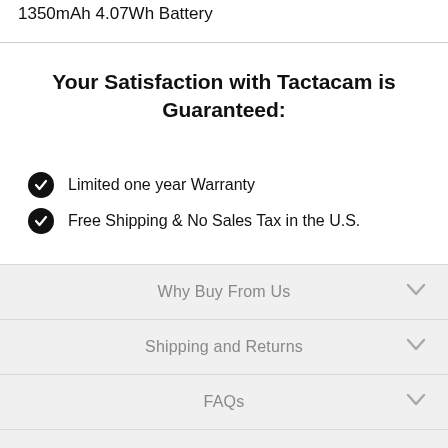1350mAh 4.07Wh Battery
Your Satisfaction with Tactacam is Guaranteed:
Limited one year Warranty
Free Shipping & No Sales Tax in the U.S.
Why Buy From Us
Shipping and Returns
FAQs
Reviews